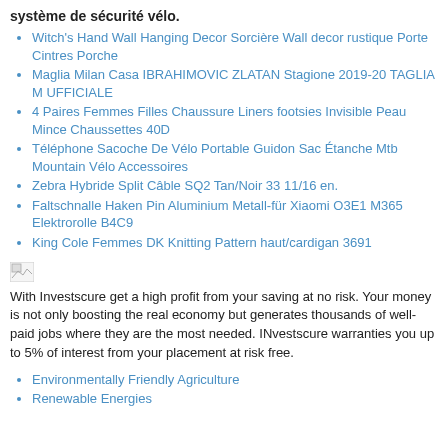système de sécurité vélo.
Witch's Hand Wall Hanging Decor Sorcière Wall decor rustique Porte Cintres Porche
Maglia Milan Casa IBRAHIMOVIC ZLATAN Stagione 2019-20 TAGLIA M UFFICIALE
4 Paires Femmes Filles Chaussure Liners footsies Invisible Peau Mince Chaussettes 40D
Téléphone Sacoche De Vélo Portable Guidon Sac Étanche Mtb Mountain Vélo Accessoires
Zebra Hybride Split Câble SQ2 Tan/Noir 33 11/16 en.
Faltschnalle Haken Pin Aluminium Metall-für Xiaomi O3E1 M365 Elektrorolle B4C9
King Cole Femmes DK Knitting Pattern haut/cardigan 3691
[Figure (other): Broken image placeholder]
With Investscure get a high profit from your saving at no risk. Your money is not only boosting the real economy but generates thousands of well-paid jobs where they are the most needed. INvestscure warranties you up to 5% of interest from your placement at risk free.
Environmentally Friendly Agriculture
Renewable Energies